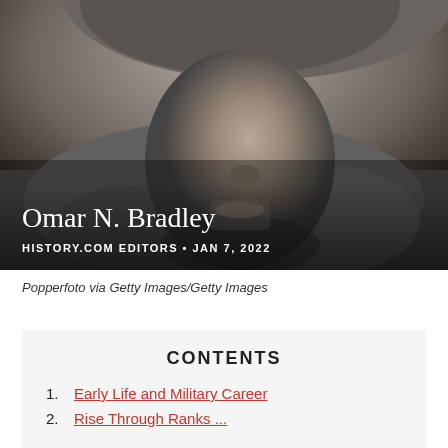[Figure (photo): Black and white close-up portrait photograph of Omar N. Bradley, a man wearing a military-style hat and heavy coat, looking slightly off-camera. Title 'Omar N. Bradley' and byline 'HISTORY.COM EDITORS • JAN 7, 2022' overlay the bottom of the image.]
Popperfoto via Getty Images/Getty Images
CONTENTS
Early Life and Military Career
Rise Through Ranks ...